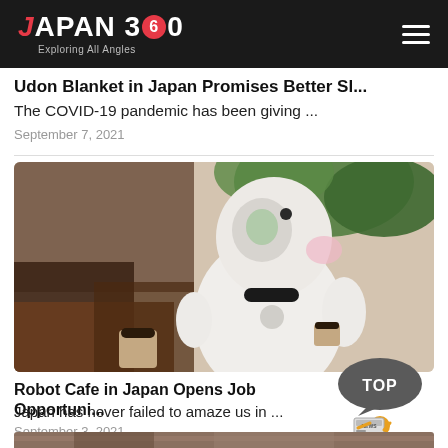JAPAN360 — Exploring All Angles
Udon Blanket in Japan Promises Better Sl...
The COVID-19 pandemic has been giving ...
September 7, 2021
[Figure (photo): A white humanoid robot (resembling a small companion robot) sitting at a cafe table with a coffee cup, surrounded by green plants and wooden furniture.]
Robot Cafe in Japan Opens Job Opportuni...
Japan has never failed to amaze us in ...
September 3, 2021
[Figure (illustration): TOP badge with a cartoon figure reading news]
[Figure (photo): Partial bottom image strip showing outdoor scene]